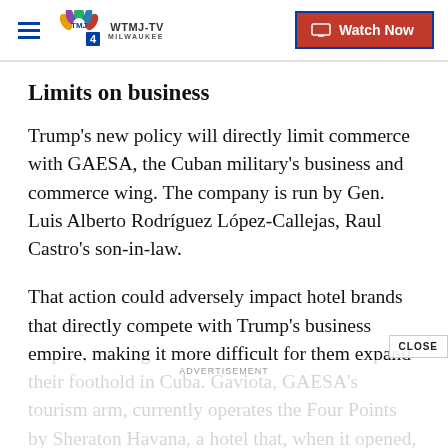WTMJ-TV MILWAUKEE — Watch Now
Limits on business
Trump's new policy will directly limit commerce with GAESA, the Cuban military's business and commerce wing. The company is run by Gen. Luis Alberto Rodríguez López-Callejas, Raul Castro's son-in-law.
That action could adversely impact hotel brands that directly compete with Trump's business empire, making it more difficult for them expand their foothold in Cuba. Gaviota, GAESA's tourism arm, currently operates the Four Points by Sheraton Havana, a hotel that, when it opened, was the first US hotel to open in